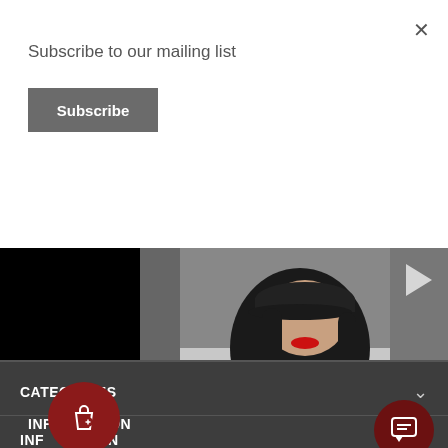Subscribe to our mailing list
Subscribe
[Figure (screenshot): Video thumbnail showing a person wearing a black top with red symbols, a black cap, and red lipstick, standing outdoors. Left portion is black. A play button triangle is visible.]
CATEGORIES
INFORMATION